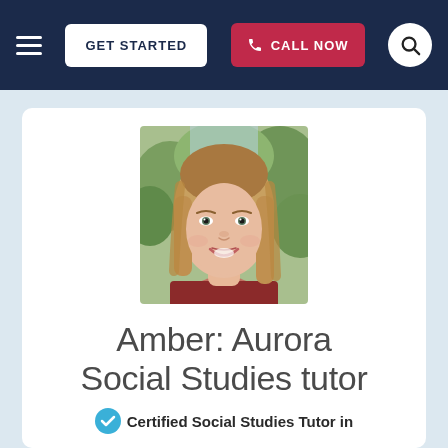GET STARTED | CALL NOW
[Figure (photo): Profile photo of Amber, a female tutor with long blonde hair, smiling, wearing a dark red top, photographed outdoors with trees in background.]
Amber: Aurora Social Studies tutor
Certified Social Studies Tutor in